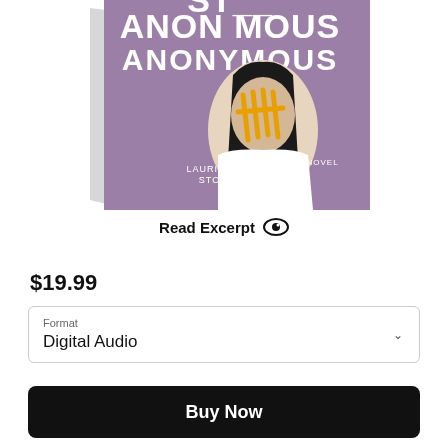[Figure (illustration): Book cover of 'Stay Anonymous' by Laurie Faria Stolarz. Purple/mauve background with white stylized lettering reading 'Anonymous' (partial, top cropped). A woman with long dark hair faces away, wearing a white top. Yellow graffiti tally marks over her face. Text 'Laurie Faria Stolarz' and 'A Novel' on cover.]
Read Excerpt
$19.99
Format
Digital Audio
Buy Now